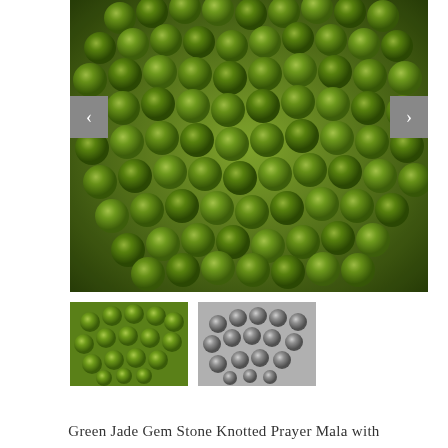[Figure (photo): Close-up photo of green jade gemstone knotted prayer mala beads coiled, showing shiny dark green spherical beads connected with dark cord knots, on white background.]
[Figure (photo): Thumbnail: green jade mala beads coiled, color photo.]
[Figure (photo): Thumbnail: grey/silver mala beads coiled, greyscale photo.]
Green Jade Gem Stone Knotted Prayer Mala with